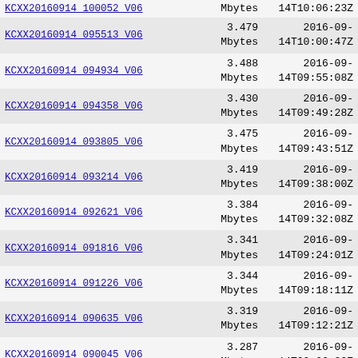| Name | Size | Date |
| --- | --- | --- |
| KCXX20160914 100052 V06 | Mbytes | 14T10:06:23Z |
| KCXX20160914 095513 V06 | 3.479
Mbytes | 2016-09-
14T10:00:47Z |
| KCXX20160914 094934 V06 | 3.488
Mbytes | 2016-09-
14T09:55:08Z |
| KCXX20160914 094358 V06 | 3.430
Mbytes | 2016-09-
14T09:49:28Z |
| KCXX20160914 093805 V06 | 3.475
Mbytes | 2016-09-
14T09:43:51Z |
| KCXX20160914 093214 V06 | 3.419
Mbytes | 2016-09-
14T09:38:00Z |
| KCXX20160914 092621 V06 | 3.384
Mbytes | 2016-09-
14T09:32:08Z |
| KCXX20160914 091816 V06 | 3.341
Mbytes | 2016-09-
14T09:24:01Z |
| KCXX20160914 091226 V06 | 3.344
Mbytes | 2016-09-
14T09:18:11Z |
| KCXX20160914 090635 V06 | 3.319
Mbytes | 2016-09-
14T09:12:21Z |
| KCXX20160914 090045 V06 | 3.287
Mbytes | 2016-09-
14T09:06:30Z |
| KCXX20160914 085452 V06 | 3.243
Mbytes | 2016-09-
14T09:00:39Z |